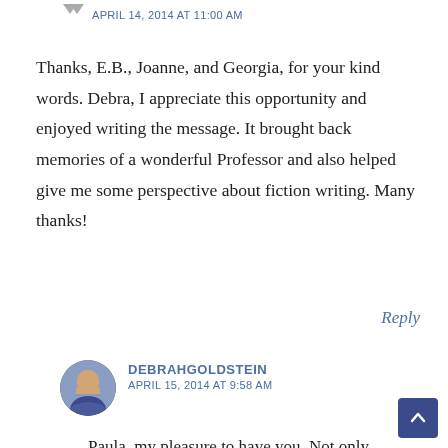APRIL 14, 2014 AT 11:00 AM
Thanks, E.B., Joanne, and Georgia, for your kind words. Debra, I appreciate this opportunity and enjoyed writing the message. It brought back memories of a wonderful Professor and also helped give me some perspective about fiction writing. Many thanks!
Reply
DEBRAHGOLDSTEIN
APRIL 15, 2014 AT 9:58 AM
Paula, my pleasure to have you. Not only has your piece generated comment here, but also on Facebook from an entirely different group of